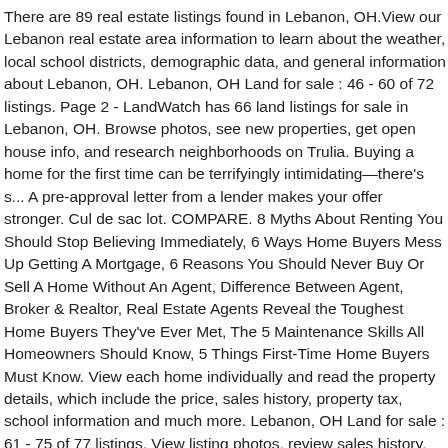There are 89 real estate listings found in Lebanon, OH.View our Lebanon real estate area information to learn about the weather, local school districts, demographic data, and general information about Lebanon, OH. Lebanon, OH Land for sale : 46 - 60 of 72 listings. Page 2 - LandWatch has 66 land listings for sale in Lebanon, OH. Browse photos, see new properties, get open house info, and research neighborhoods on Trulia. Buying a home for the first time can be terrifyingly intimidating—there's s... A pre-approval letter from a lender makes your offer stronger. Cul de sac lot. COMPARE. 8 Myths About Renting You Should Stop Believing Immediately, 6 Ways Home Buyers Mess Up Getting A Mortgage, 6 Reasons You Should Never Buy Or Sell A Home Without An Agent, Difference Between Agent, Broker & Realtor, Real Estate Agents Reveal the Toughest Home Buyers They've Ever Met, The 5 Maintenance Skills All Homeowners Should Know, 5 Things First-Time Home Buyers Must Know. View each home individually and read the property details, which include the price, sales history, property tax, school information and much more. Lebanon, OH Land for sale : 61 - 75 of 77 listings. View listing photos, review sales history, and use our detailed real estate filters to find the perfect place. 145 Homes For Sale in Lebanon, OH. There was around $67 million of farms, ranches, hunting land and other land for